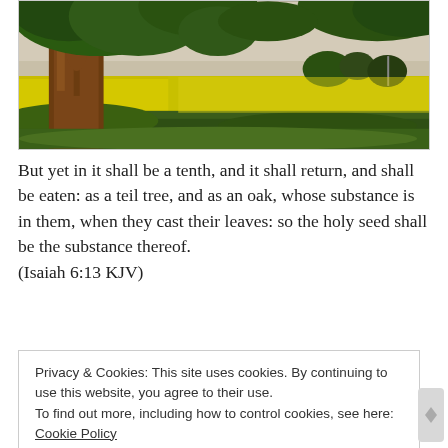[Figure (photo): A large oak tree in golden hour light with a yellow rapeseed field in the background and green foliage.]
But yet in it shall be a tenth, and it shall return, and shall be eaten: as a teil tree, and as an oak, whose substance is in them, when they cast their leaves: so the holy seed shall be the substance thereof.
(Isaiah 6:13 KJV)
Privacy & Cookies: This site uses cookies. By continuing to use this website, you agree to their use.
To find out more, including how to control cookies, see here: Cookie Policy
Close and accept